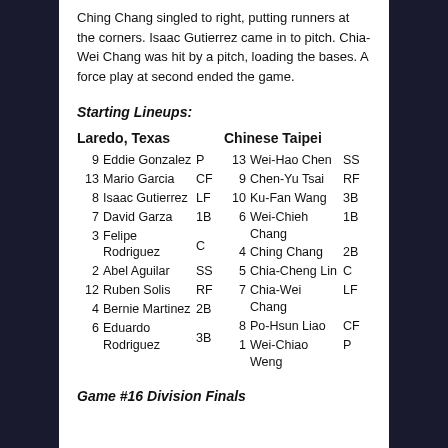Ching Chang singled to right, putting runners at the corners. Isaac Gutierrez came in to pitch. Chia-Wei Chang was hit by a pitch, loading the bases. A force play at second ended the game.
Starting Lineups:
| # | Name | Pos | # | Name | Pos |
| --- | --- | --- | --- | --- | --- |
| 9 | Eddie Gonzalez | P | 13 | Wei-Hao Chen | SS |
| 13 | Mario Garcia | CF | 9 | Chen-Yu Tsai | RF |
| 8 | Isaac Gutierrez | LF | 10 | Ku-Fan Wang | 3B |
| 7 | David Garza | 1B | 6 | Wei-Chieh Chang | 1B |
| 3 | Felipe Rodriguez | C | 4 | Ching Chang | 2B |
| 2 | Abel Aguilar | SS | 5 | Chia-Cheng Lin | C |
| 12 | Ruben Solis | RF | 7 | Chia-Wei Chang | LF |
| 4 | Bernie Martinez | 2B | 8 | Po-Hsun Liao | CF |
| 6 | Eduardo Rodriguez | 3B | 1 | Wei-Chiao Weng | P |
Game #16 Division Finals